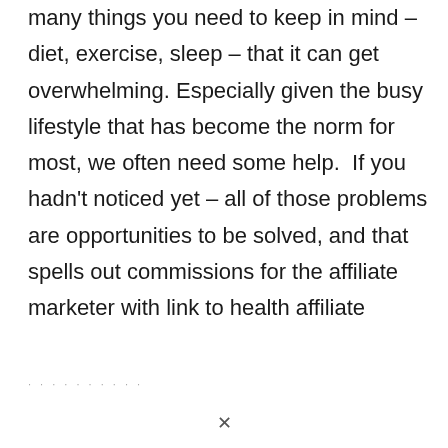many things you need to keep in mind – diet, exercise, sleep – that it can get overwhelming. Especially given the busy lifestyle that has become the norm for most, we often need some help.  If you hadn't noticed yet – all of those problems are opportunities to be solved, and that spells out commissions for the affiliate marketer with link to health affiliate
· · · · · · · · · ·